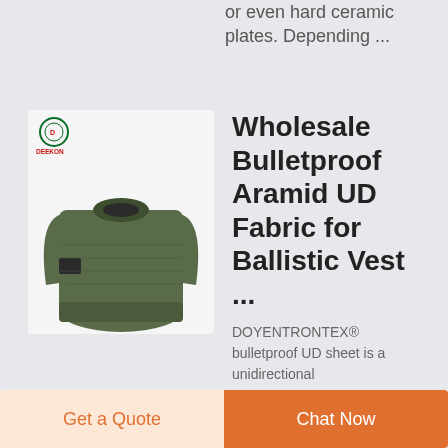other Aramid materials, or even hard ceramic plates. Depending ...
[Figure (photo): Olive green military-style sweater/pullover with a brand patch on the left arm. DEEKON logo visible in top-left corner of the product image.]
Wholesale Bulletproof Aramid UD Fabric for Ballistic Vest ...
DOYENTRONTEX® bulletproof UD sheet is a unidirectional
Get a Quote
Chat Now